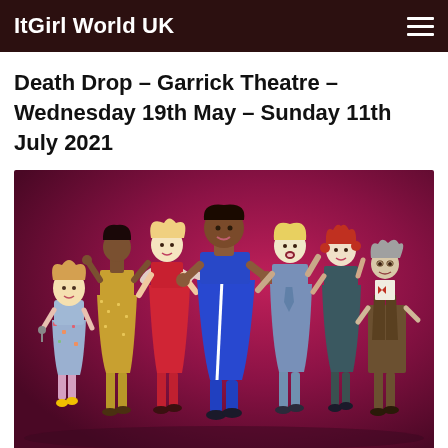ItGirl World UK
Death Drop – Garrick Theatre – Wednesday 19th May – Sunday 11th July 2021
[Figure (photo): Group promotional photo of seven performers/cast members for Death Drop, posed against a magenta/hot pink background. The cast includes performers in colourful costumes including a small figure in a floral dress with yellow heels, a tall figure in a gold sequin suit, a figure in red with a feather boa, a figure in a blue dress, a blonde figure in a denim coat, a figure in teal, and a figure in a brown waistcoat and bow tie.]